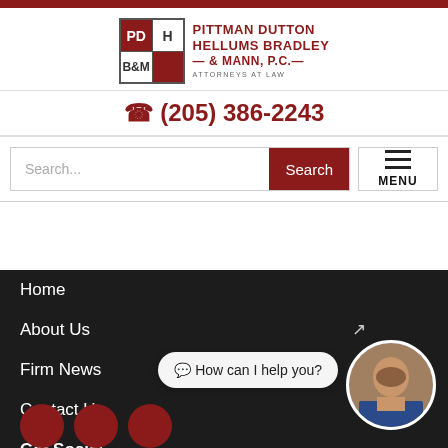[Figure (logo): Pittman Dutton Hellums Bradley & Mann P.C. law firm logo with PDH B&M initials]
(205) 386-2243
Search...
Search
MENU
Home
About Us
Firm News
Contact Us
Get Social
How can I help you?